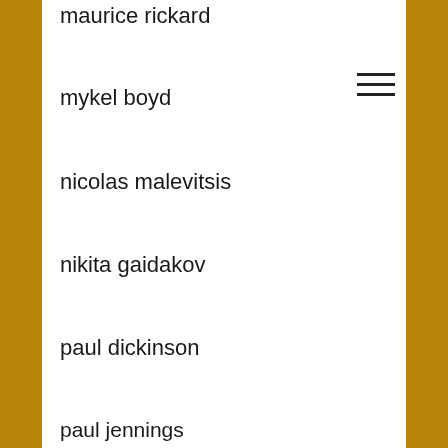maurice rickard
mykel boyd
nicolas malevitsis
nikita gaidakov
paul dickinson
paul jennings
paul mallatratt
pedro montesinos
peter annear